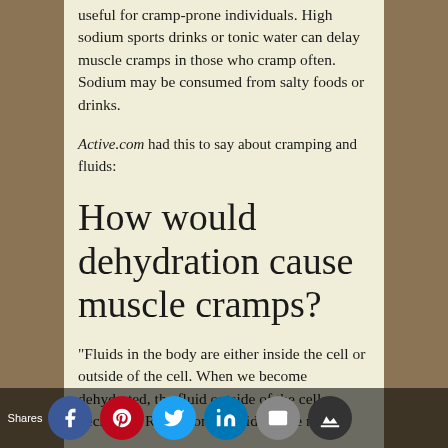useful for cramp-prone individuals. High sodium sports drinks or tonic water can delay muscle cramps in those who cramp often. Sodium may be consumed from salty foods or drinks.
Active.com had this to say about cramping and fluids:
How would dehydration cause muscle cramps?
“Fluids in the body are either inside the cell or outside of the cell. When we become dehydrated, the fluid outside of the cells decreases. Reduction in fluids cause nerve
Shares [Facebook] [Pinterest] [Twitter] [LinkedIn] [Email] [Crown]